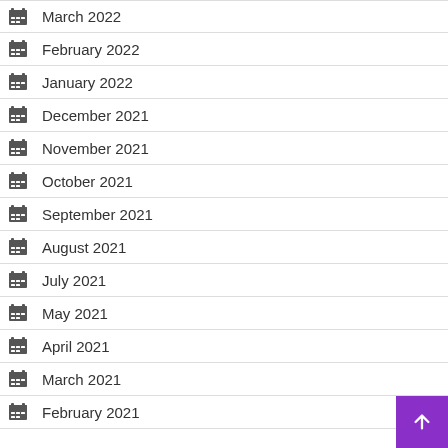March 2022
February 2022
January 2022
December 2021
November 2021
October 2021
September 2021
August 2021
July 2021
May 2021
April 2021
March 2021
February 2021